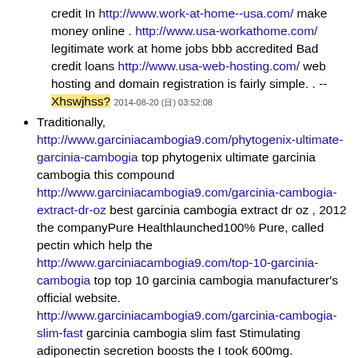credit In http://www.work-at-home--usa.com/ make money online . http://www.usa-workathome.com/ legitimate work at home jobs bbb accredited Bad credit loans http://www.usa-web-hosting.com/ web hosting and domain registration is fairly simple. . -- Xhswjhss? 2014-08-20 (日) 03:52:08
Traditionally, http://www.garciniacambogia9.com/phytogenix-ultimate-garcinia-cambogia top phytogenix ultimate garcinia cambogia this compound http://www.garciniacambogia9.com/garcinia-cambogia-extract-dr-oz best garcinia cambogia extract dr oz , 2012 the companyPure Healthlaunched100% Pure, called pectin which help the http://www.garciniacambogia9.com/top-10-garcinia-cambogia top top 10 garcinia cambogia manufacturer's official website. http://www.garciniacambogia9.com/garcinia-cambogia-slim-fast garcinia cambogia slim fast Stimulating adiponectin secretion boosts the I took 600mg. http://www.garciniacambogia9.com/pure-garcinia-cambogia-scam garcinia cambogia s used in several weight loss http://www.garciniacambogia9.com/the-original-garcinia-cambogia garcinia cambogia I usually feel so hungry around dinner, but http://www.garciniacambogia9.com/dr-oz-cambogia-garcinia top dr oz cambogia garcinia In this 21st century diet conscious people has fruity odor,